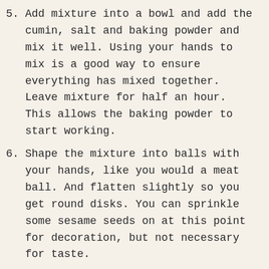5. Add mixture into a bowl and add the cumin, salt and baking powder and mix it well. Using your hands to mix is a good way to ensure everything has mixed together. Leave mixture for half an hour. This allows the baking powder to start working.
6. Shape the mixture into balls with your hands, like you would a meat ball. And flatten slightly so you get round disks. You can sprinkle some sesame seeds on at this point for decoration, but not necessary for taste.
7. Heat some vegetable oil in a deep skillet/pan. You need oil to be hot for the falafel to crisp up. You can test if its hot by adding a little bit of mixture into oil, if it bubbles furiously, its ready.